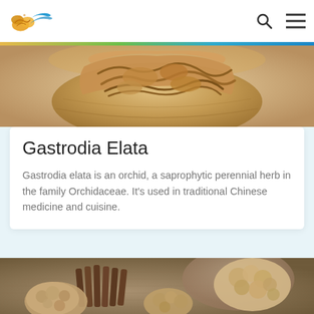[Figure (photo): Website header with colorful logo (cloud/bird design in orange, green, blue), search icon, and hamburger menu icon on white background with a colored bar below]
[Figure (photo): Top portion of a bamboo basket containing dried Gastrodia elata herb pieces on a light background]
Gastrodia Elata
Gastrodia elata is an orchid, a saprophytic perennial herb in the family Orchidaceae. It's used in traditional Chinese medicine and cuisine.
[Figure (photo): Dried Gastrodia elata tubers and cinnamon sticks arranged on a burlap surface with a ceramic plate in background]